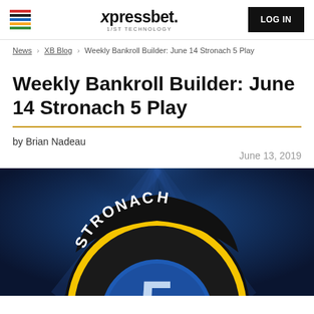xpressbet. 1/ST TECHNOLOGY | LOG IN
News > XB Blog > Weekly Bankroll Builder: June 14 Stronach 5 Play
Weekly Bankroll Builder: June 14 Stronach 5 Play
by Brian Nadeau
June 13, 2019
[Figure (illustration): Stronach 5 logo badge - circular emblem with dark blue/navy background, yellow and black ring, text 'STRONACH' across the top arc and number '5' in white/blue in the center]